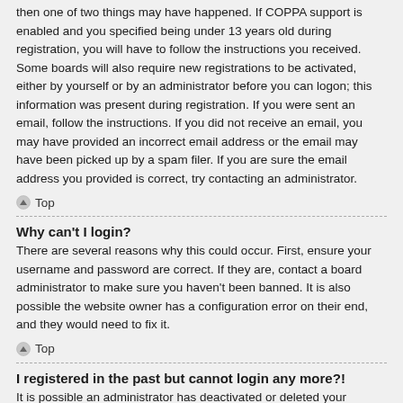then one of two things may have happened. If COPPA support is enabled and you specified being under 13 years old during registration, you will have to follow the instructions you received. Some boards will also require new registrations to be activated, either by yourself or by an administrator before you can logon; this information was present during registration. If you were sent an email, follow the instructions. If you did not receive an email, you may have provided an incorrect email address or the email may have been picked up by a spam filer. If you are sure the email address you provided is correct, try contacting an administrator.
Top
Why can't I login?
There are several reasons why this could occur. First, ensure your username and password are correct. If they are, contact a board administrator to make sure you haven't been banned. It is also possible the website owner has a configuration error on their end, and they would need to fix it.
Top
I registered in the past but cannot login any more?!
It is possible an administrator has deactivated or deleted your